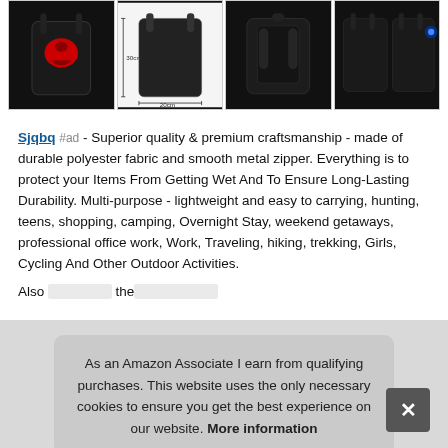[Figure (photo): Four product images of a black backpack shown from different angles: front view with red logo, side/dimension diagram, back view, and front view with blue USB port light.]
Sjqbq #ad - Superior quality & premium craftsmanship - made of durable polyester fabric and smooth metal zipper. Everything is to protect your Items From Getting Wet And To Ensure Long-Lasting Durability. Multi-purpose - lightweight and easy to carrying, hunting, teens, shopping, camping, Overnight Stay, weekend getaways, professional office work, Work, Traveling, hiking, trekking, Girls, Cycling And Other Outdoor Activities.
Also [partially obscured] the [partially obscured]
As an Amazon Associate I earn from qualifying purchases. This website uses the only necessary cookies to ensure you get the best experience on our website. More information
Comfortable design - the backpack reinforcement strap...